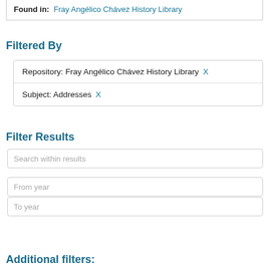Found in: Fray Angélico Chávez History Library
Filtered By
Repository: Fray Angélico Chávez History Library X
Subject: Addresses X
Filter Results
Search within results
From year
To year
Search
Additional filters: